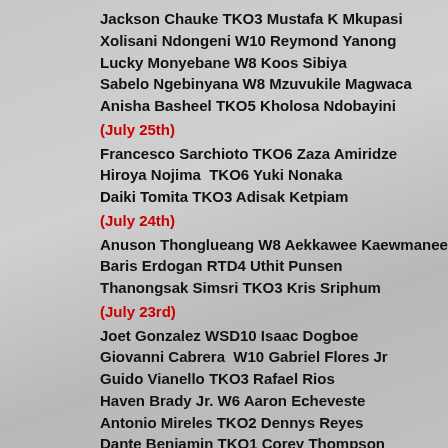Jackson Chauke TKO3 Mustafa K Mkupasi
Xolisani Ndongeni W10 Reymond Yanong
Lucky Monyebane W8 Koos Sibiya
Sabelo Ngebinyana W8 Mzuvukile Magwaca
Anisha Basheel TKO5 Kholosa Ndobayini
(July 25th)
Francesco Sarchioto TKO6 Zaza Amiridze
Hiroya Nojima  TKO6 Yuki Nonaka
Daiki Tomita TKO3 Adisak Ketpiam
(July 24th)
Anuson Thonglueang W8 Aekkawee Kaewmanee
Baris Erdogan RTD4 Uthit Punsen
Thanongsak Simsri TKO3 Kris Sriphum
(July 23rd)
Joet Gonzalez WSD10 Isaac Dogboe
Giovanni Cabrera  W10 Gabriel Flores Jr
Guido Vianello TKO3 Rafael Rios
Haven Brady Jr. W6 Aaron Echeveste
Antonio Mireles TKO2 Dennys Reyes
Dante Benjamin TKO1 Corey Thompson
Colton Warner W4 James Barnes
Abdullah Mason TKO1 Luis Fernandez
Avery Sparrow W8 William Foster III